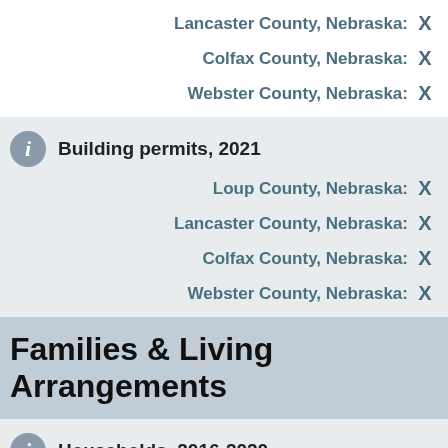Lancaster County, Nebraska: X
Colfax County, Nebraska: X
Webster County, Nebraska: X
Building permits, 2021
Loup County, Nebraska: X
Lancaster County, Nebraska: X
Colfax County, Nebraska: X
Webster County, Nebraska: X
Families & Living Arrangements
Households, 2016-2020
Loup County, Nebraska: X
Lancaster County, Nebraska: X
Colfax County, Nebraska: X